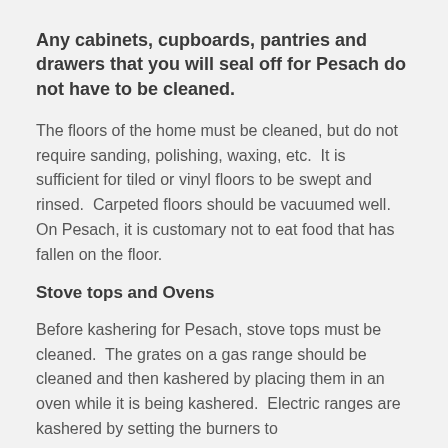Any cabinets, cupboards, pantries and drawers that you will seal off for Pesach do not have to be cleaned.
The floors of the home must be cleaned, but do not require sanding, polishing, waxing, etc.  It is sufficient for tiled or vinyl floors to be swept and rinsed.  Carpeted floors should be vacuumed well. On Pesach, it is customary not to eat food that has fallen on the floor.
Stove tops and Ovens
Before kashering for Pesach, stove tops must be cleaned.  The grates on a gas range should be cleaned and then kashered by placing them in an oven while it is being kashered.  Electric ranges are kashered by setting the burners to